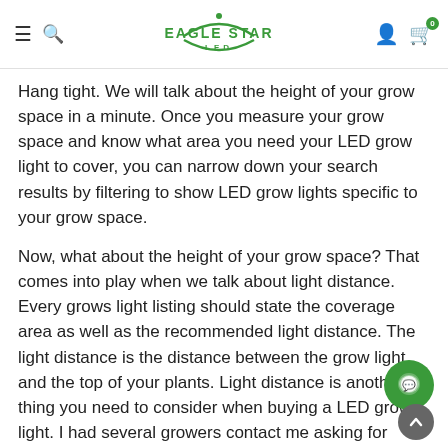Eagle Star LED
Hang tight. We will talk about the height of your grow space in a minute. Once you measure your grow space and know what area you need your LED grow light to cover, you can narrow down your search results by filtering to show LED grow lights specific to your grow space.
Now, what about the height of your grow space? That comes into play when we talk about light distance. Every grows light listing should state the coverage area as well as the recommended light distance. The light distance is the distance between the grow light and the top of your plants. Light distance is another thing you need to consider when buying a LED grow light. I had several growers contact me asking for advice about plants that grew too close to their grow light – beca